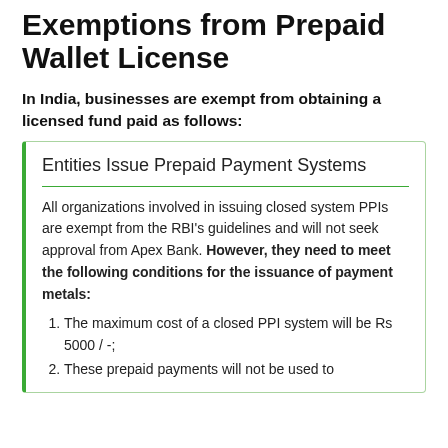Exemptions from Prepaid Wallet License
In India, businesses are exempt from obtaining a licensed fund paid as follows:
Entities Issue Prepaid Payment Systems
All organizations involved in issuing closed system PPIs are exempt from the RBI’s guidelines and will not seek approval from Apex Bank. However, they need to meet the following conditions for the issuance of payment metals:
The maximum cost of a closed PPI system will be Rs 5000 / -;
These prepaid payments will not be used to ...